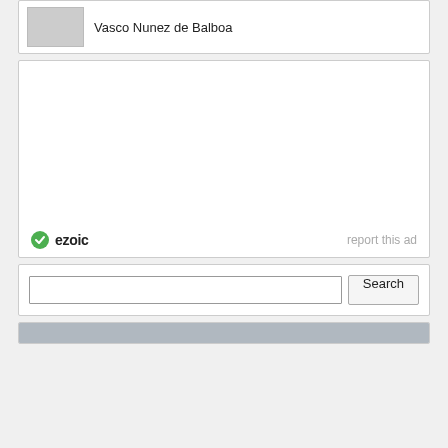Vasco Nunez de Balboa
[Figure (other): Ad block with ezoic branding and 'report this ad' link]
ezoic
report this ad
Search